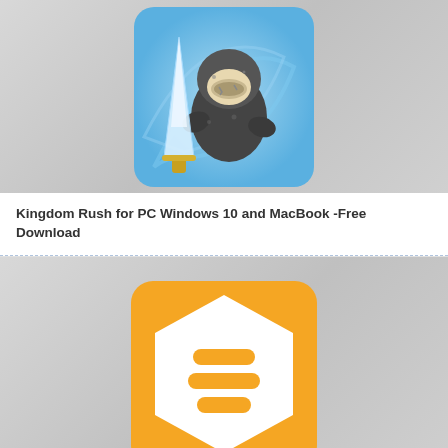[Figure (illustration): Kingdom Rush game icon: cartoon ninja/warrior character in black armor holding an ice crystal sword against a blue swirling background]
Kingdom Rush for PC Windows 10 and MacBook -Free Download
[Figure (logo): Beehive app icon: golden/yellow square background with a white hexagon shape containing three horizontal rounded rectangles/pills stacked inside it]
[Figure (illustration): Partial third card visible at bottom of page with gray background]